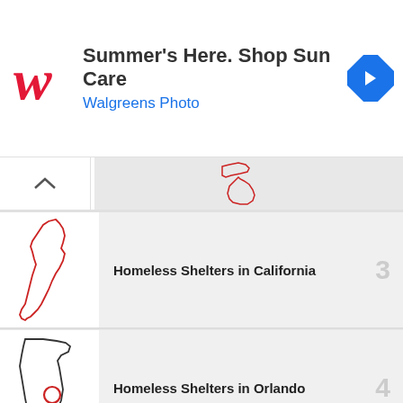[Figure (screenshot): Walgreens advertisement banner: logo on left, 'Summer's Here. Shop Sun Care' in bold, 'Walgreens Photo' in blue, navigation arrow icon on right]
Homeless Shelters in California, rank 3
Homeless Shelters in Orlando, rank 4
NYC Homeless Shelters, rank 5
San Diego Homeless Shelters